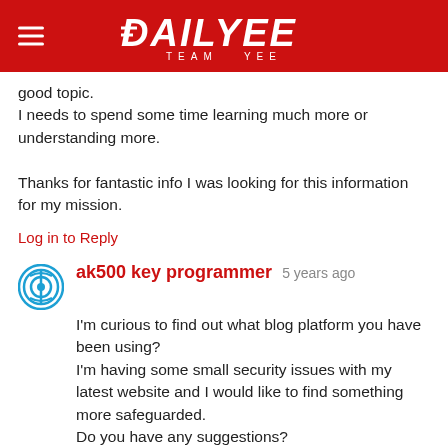DAILYEE TEAM YEE
good topic.
I needs to spend some time learning much more or understanding more.

Thanks for fantastic info I was looking for this information for my mission.
Log in to Reply
ak500 key programmer  5 years ago
I'm curious to find out what blog platform you have been using?
I'm having some small security issues with my latest website and I would like to find something more safeguarded.
Do you have any suggestions?
Log in to Reply